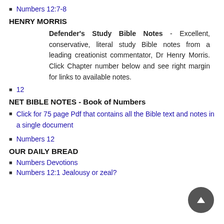Numbers 12:7-8
HENRY MORRIS
Defender's Study Bible Notes - Excellent, conservative, literal study Bible notes from a leading creationist commentator, Dr Henry Morris. Click Chapter number below and see right margin for links to available notes.
12
NET BIBLE NOTES - Book of Numbers
Click for 75 page Pdf that contains all the Bible text and notes in a single document
Numbers 12
OUR DAILY BREAD
Numbers Devotions
Numbers 12:1 Jealousy or zeal?